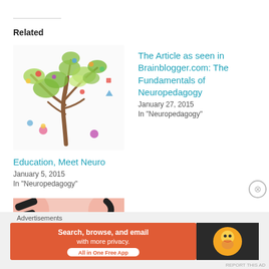Related
[Figure (illustration): Colorful tree illustration with educational and science icons as leaves/branches]
Education, Meet Neuro
January 5, 2015
In "Neuropedagogy"
The Article as seen in Brainblogger.com: The Fundamentals of Neuropedagogy
January 27, 2015
In "Neuropedagogy"
[Figure (illustration): Pink and white poster with black brush strokes and text: COVID-19 PANDEMIC EDUCATION WILL NEVER BE THE SAME AGAIN]
Learning is Social and
Advertisements
[Figure (screenshot): DuckDuckGo advertisement banner: Search, browse, and email with more privacy. All in One Free App]